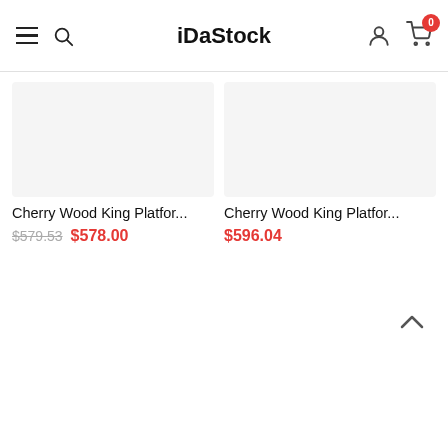iDaStock
Cherry Wood King Platfor...
$579.53  $578.00
Cherry Wood King Platfor...
$596.04